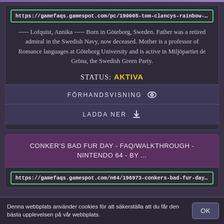https://gamefaqs.gamespot.com/pc/190005-tom-clancys-rainbow-six-rog
----- Lofquist, Annika ----- Born in Göteborg, Sweden. Father was a retired admiral in the Swedish Navy, now deceased. Mother is a professor of Romance languages at Göteborg University and is active in Miljöpartiet de Gröna, the Swedish Green Party.
STATUS: AKTIVA
FÖRHANDSVISNING
LADDA NER
CONKER'S BAD FUR DAY - FAQ/WALKTHROUGH - NINTENDO 64 - BY ...
https://gamefaqs.gamespot.com/n64/196973-conkers-bad-fur-day/faqs/3
Denna webbplats använder cookies för att säkerställa att du får den bästa upplevelsen på vår webbplats.